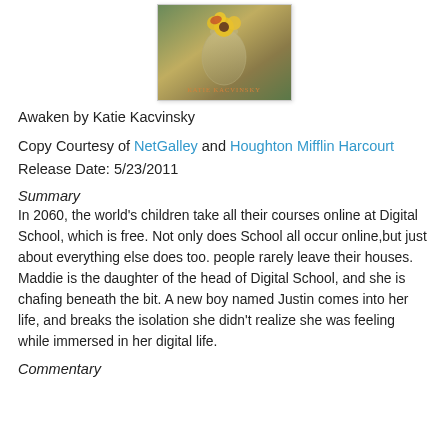[Figure (photo): Book cover of 'Awaken' by Katie Kacvinsky, showing a jar with flowers on a textured greenish-gold background, with the author name in orange text at the bottom]
Awaken by Katie Kacvinsky
Copy Courtesy of NetGalley and Houghton Mifflin Harcourt
Release Date: 5/23/2011
Summary
In 2060, the world's children take all their courses online at Digital School, which is free. Not only does School all occur online,but just about everything else does too. people rarely leave their houses. Maddie is the daughter of the head of Digital School, and she is chafing beneath the bit. A new boy named Justin comes into her life, and breaks the isolation she didn't realize she was feeling while immersed in her digital life.
Commentary